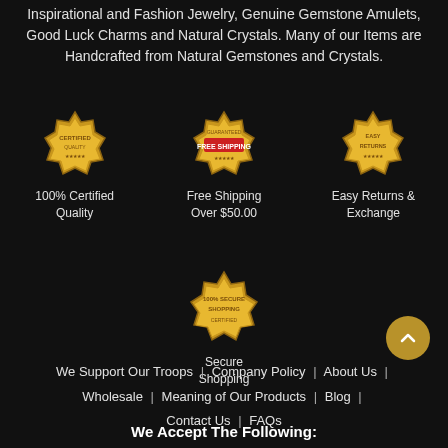Inspirational and Fashion Jewelry, Genuine Gemstone Amulets, Good Luck Charms and Natural Crystals. Many of our Items are Handcrafted from Natural Gemstones and Crystals.
[Figure (illustration): Gold certified quality badge/seal icon]
100% Certified Quality
[Figure (illustration): Free Shipping badge with red banner]
Free Shipping Over $50.00
[Figure (illustration): Easy Returns gold badge/seal icon]
Easy Returns & Exchange
[Figure (illustration): 100% Secure Shopping gold badge/seal icon]
Secure Shopping
We Support Our Troops | Company Policy | About Us | Wholesale | Meaning of Our Products | Blog | Contact Us | FAQs
We Accept The Following: